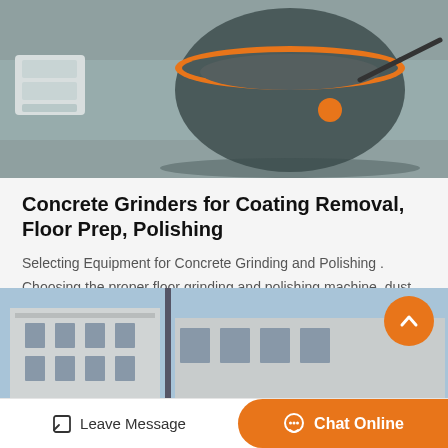[Figure (photo): Industrial concrete floor grinding machine in a warehouse setting, viewed from above at an angle. Machine appears grey/dark with orange trim.]
Concrete Grinders for Coating Removal, Floor Prep, Polishing
Selecting Equipment for Concrete Grinding and Polishing . Choosing the proper floor grinding and polishing machine, dust extractor / vacuum and diamond tooling impacts your bottom line in each project. You can discuss which grinder is best for your…
[Figure (other): Orange rounded rectangle button labeled 'Get Price']
[Figure (photo): Exterior view of an industrial building / factory with blue sky background.]
Leave Message   Chat Online